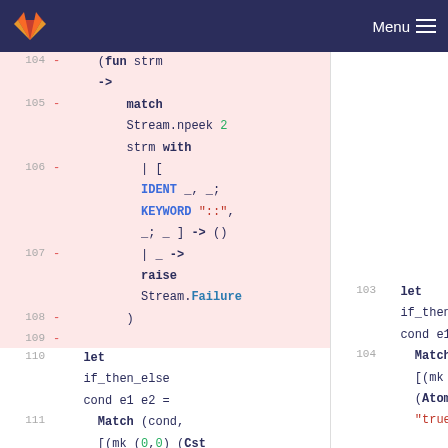Menu
[Figure (screenshot): Code diff view showing OCaml source code. Left pane (removed, pink background) shows lines 104-109 with a function using match Stream.npeek 2 strm with pattern matching on IDENT and KEYWORD tokens. Right pane shows lines 103-104 with let if_then_else and Match expressions.]
104 - (fun strm ->
105 -     match Stream.npeek 2 strm with
106 -       | [ IDENT _, _; KEYWORD "::", _; _ ] -> ()
107 -       | _ -> raise Stream.Failure
108 -     )
109 -
110   let if_then_else cond e1 e2 =
111     Match (cond, [(mk (0,0) (Cst (Atom (ident "true")))) el
103   let if_then_else cond e1 e2 =
104     Match (cond, [(mk (0,0) (Cst (Atom (ident "true")))) el